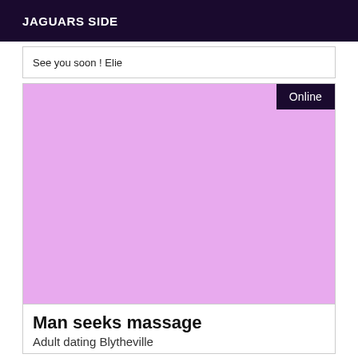JAGUARS SIDE
See you soon ! Elie
[Figure (other): Large lavender/light purple rectangle placeholder image with an 'Online' badge in the top-right corner]
Man seeks massage
Adult dating Blytheville